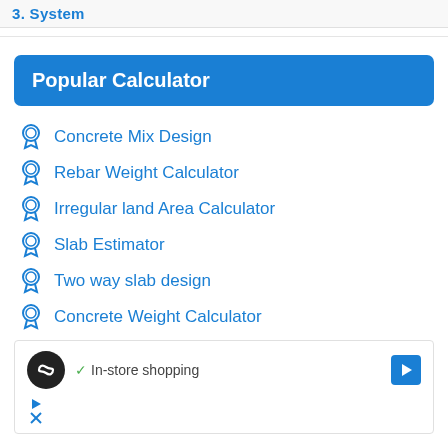3. System
Popular Calculator
Concrete Mix Design
Rebar Weight Calculator
Irregular land Area Calculator
Slab Estimator
Two way slab design
Concrete Weight Calculator
[Figure (screenshot): Advertisement banner showing a logo with infinity symbol, a checkmark with 'In-store shopping' text, a blue navigation arrow icon, and small ad indicator icons (play and close buttons).]